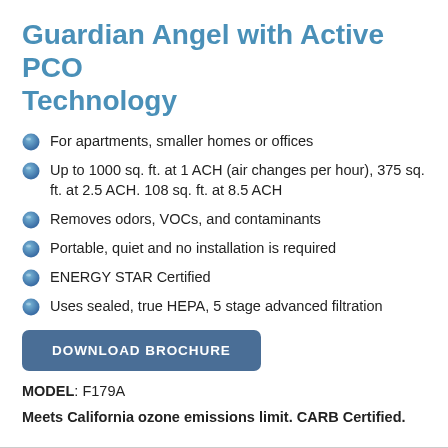Guardian Angel with Active PCO Technology
For apartments, smaller homes or offices
Up to 1000 sq. ft. at 1 ACH (air changes per hour), 375 sq. ft. at 2.5 ACH. 108 sq. ft. at 8.5 ACH
Removes odors, VOCs, and contaminants
Portable, quiet and no installation is required
ENERGY STAR Certified
Uses sealed, true HEPA, 5 stage advanced filtration
DOWNLOAD BROCHURE
MODEL: F179A
Meets California ozone emissions limit. CARB Certified.